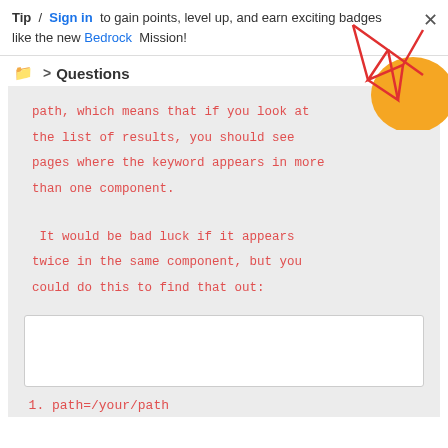Tip / Sign in to gain points, level up, and earn exciting badges like the new Bedrock Mission!
Questions
[Figure (illustration): Decorative geometric red lines and orange shapes in upper right corner]
path, which means that if you look at the list of results, you should see pages where the keyword appears in more than one component.
It would be bad luck if it appears twice in the same component, but you could do this to find that out:
[Figure (screenshot): Empty white code input box]
path=/your/path